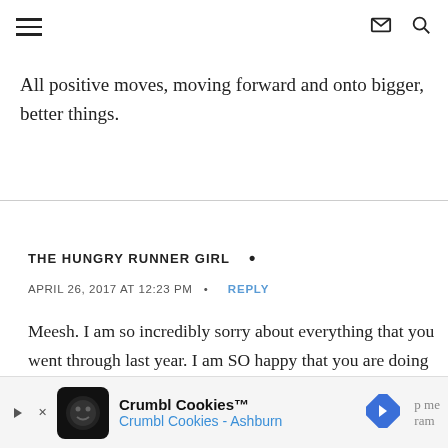[hamburger menu] [mail icon] [search icon]
All positive moves, moving forward and onto bigger, better things.
THE HUNGRY RUNNER GIRL •
APRIL 26, 2017 AT 12:23 PM  •  REPLY
Meesh. I am so incredibly sorry about everything that you went through last year. I am SO happy that you are doing so well and CONGRATS on your
[Figure (other): Crumbl Cookies advertisement banner at bottom of page showing logo, 'Crumbl Cookies™' title, 'Crumbl Cookies - Ashburn' subtitle, and navigation arrow icon]